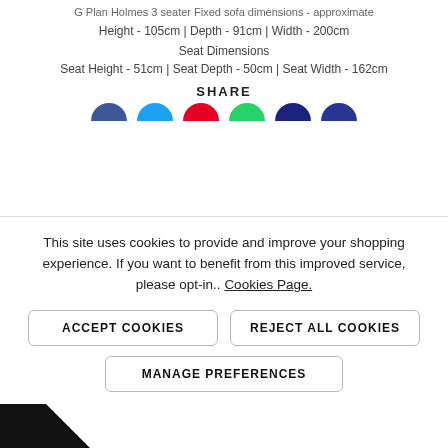G Plan Holmes 3 seater Fixed sofa dimensions - approximate
Height - 105cm | Depth - 91cm | Width - 200cm
Seat Dimensions
Seat Height - 51cm | Seat Depth - 50cm | Seat Width - 162cm
SHARE
[Figure (infographic): Six circular social share icons in blue (Facebook), light blue (Twitter), red (Pinterest), green (WhatsApp), dark navy, dark purple, shown as upper halves]
This site uses cookies to provide and improve your shopping experience. If you want to benefit from this improved service, please opt-in.. Cookies Page.
ACCEPT COOKIES
REJECT ALL COOKIES
MANAGE PREFERENCES